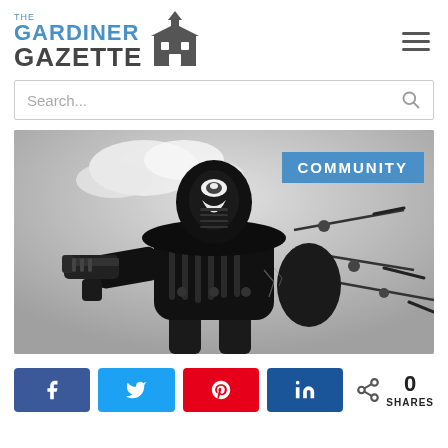The Gardiner Gazette
[Figure (screenshot): Search bar with placeholder text 'Search...' and magnifying glass icon]
[Figure (illustration): Black and white comic book illustration of an armored superhero/villain in dark armor holding a gun, with spiked protrusions, against a smoky grey background. A blue 'COMMUNITY' label badge appears in the upper right corner.]
[Figure (infographic): Social share buttons: Facebook (blue), Twitter (light blue), Pinterest (red), LinkedIn (dark blue), and a share count showing 0 SHARES]